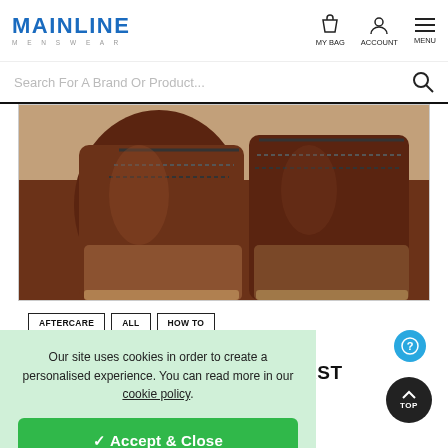MAINLINE MENSWEAR
Search For A Brand Or Product...
[Figure (photo): Close-up photo of brown leather boots with dark laces on a white/beige background]
AFTERCARE
ALL
HOW TO
April 13, 2020
HOW TO BREAK BOOTS IN FAST
Our site uses cookies in order to create a personalised experience. You can read more in our cookie policy.
✓ Accept & Close